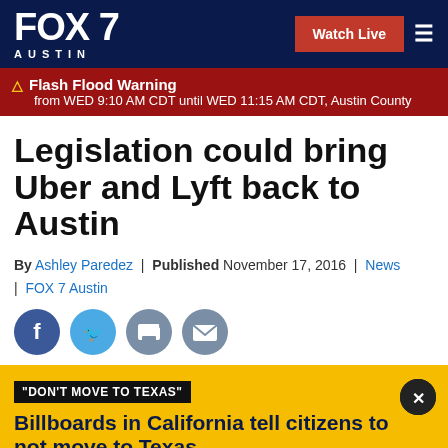FOX 7 AUSTIN
Flash Flood Warning from WED 9:10 AM CDT until WED 11:15 AM CDT, Austin County
Legislation could bring Uber and Lyft back to Austin
By Ashley Paredez | Published November 17, 2016 | News | FOX 7 Austin
[Figure (infographic): Social media share icons: Facebook, Twitter, Print, Email]
"DON'T MOVE TO TEXAS"
Billboards in California tell citizens to not move to Texas
The billboards go on to say the Texas miracle died following the Uvalde school shooting.